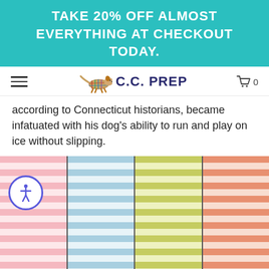TAKE 20% OFF ALMOST EVERYTHING AT CHECKOUT TODAY.
[Figure (logo): C.C. PREP navigation bar with hamburger menu, running dog logo, brand name, and cart icon showing 0]
according to Connecticut historians, became infatuated with his dog’s ability to run and play on ice without slipping.
[Figure (photo): Four rolled fabric bolts in pastel stripes: pink-white, blue-white, yellow-green-white, and salmon-white horizontal stripes, displayed upright side by side.]